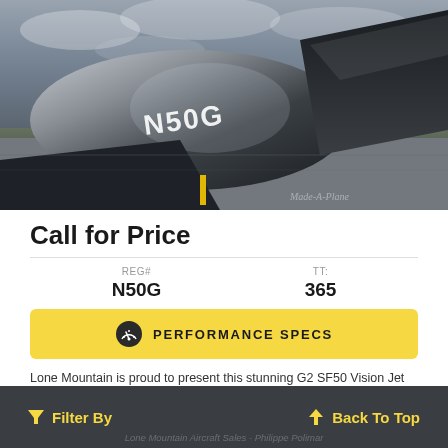[Figure (photo): Close-up photograph of a dark silver aircraft (N50G) on the tarmac with cloudy sky background. The registration N50G is visible on the fuselage. Watermark reads 'Made-A-Plane'.]
Call for Price
| REG# | TT: |
| --- | --- |
| N50G | 365 |
PERFORMANCE SPECS
Lone Mountain is proud to present this stunning G2 SF50 Vision Jet with only 365 hours since new! Fully loaded with the Elite Package and Cargo
Filter By   Back To Top
Lone Mountain Aircraft Sales - Philippe Polimar